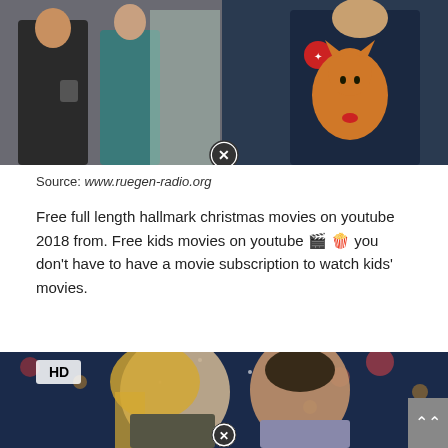[Figure (photo): Top image showing two scenes: on the left, two people facing each other indoors; on the right, a person in dark blue uniform holding an orange cat with a red bow. A circular close/X button overlay is visible at center top.]
Source: www.ruegen-radio.org
Free full length hallmark christmas movies on youtube 2018 from. Free kids movies on youtube 🎬 🍿 you don't have to have a movie subscription to watch kids' movies.
[Figure (photo): Bottom image with HD badge in upper left, showing a smiling blonde woman and a smiling dark-haired man facing each other against a bokeh Christmas light background. A circular close/X button overlay is at the bottom center, and a gray scroll-up arrow button is at the bottom right.]